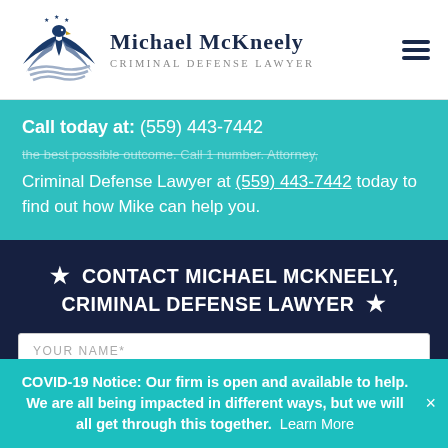Michael McKneely Criminal Defense Lawyer
Call today at: (559) 443-7442
Criminal Defense Lawyer at (559) 443-7442 today to find out how Mike can help you.
★ CONTACT MICHAEL MCKNEELY, CRIMINAL DEFENSE LAWYER ★
YOUR NAME*
COVID-19 Notice: Our firm is open and available to help. We are all being impacted in different ways, but we will all get through this together. Learn More